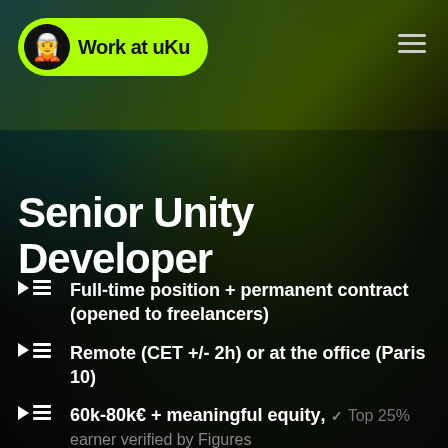Work at uKu
Senior Unity Developer
Full-time position + permanent contract (opened to freelancers)
Remote (CET +/- 2h) or at the office (Paris 10)
60k-80k€ + meaningful equity, ✓ Top 25% earner verified by Figures
4 talented engineers, become the next one!